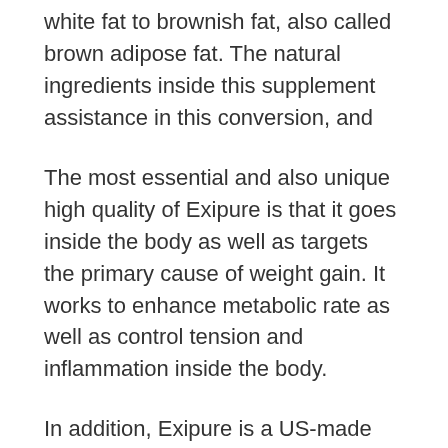It works by changing the typical white fat to brownish fat, also called brown adipose fat. The natural ingredients inside this supplement assistance in this conversion, and also the body loses a great deal of calories during this conversion.
The most essential and also unique high quality of Exipure is that it goes inside the body as well as targets the primary cause of weight gain. It works to enhance metabolic rate as well as control tension and inflammation inside the body.
In addition, Exipure is a US-made product prepared in an FDA-approved and also GMP-certified facility. The end product is tested through a third-party laboratory for top quality and safety. There are